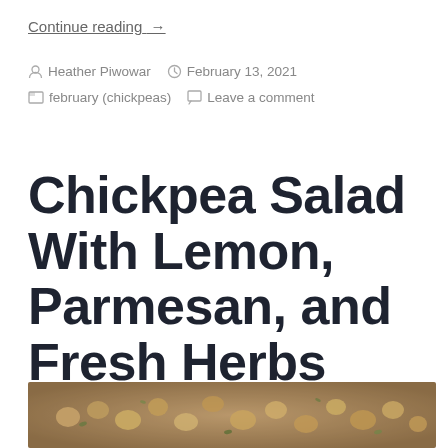Continue reading   →
Heather Piwowar  February 13, 2021  february (chickpeas)  Leave a comment
Chickpea Salad With Lemon, Parmesan, and Fresh Herbs
[Figure (photo): Close-up photo of chickpea salad with herbs, partially visible at the bottom of the page]